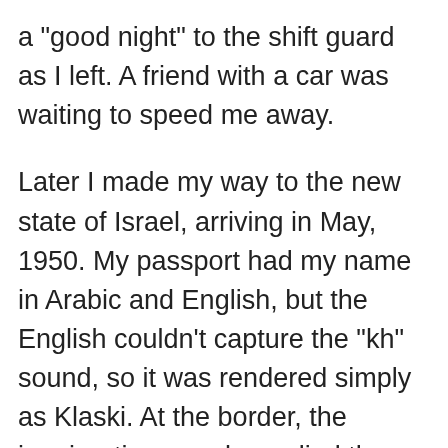a "good night" to the shift guard as I left. A friend with a car was waiting to speed me away.
Later I made my way to the new state of Israel, arriving in May, 1950. My passport had my name in Arabic and English, but the English couldn't capture the "kh" sound, so it was rendered simply as Klaski. At the border, the immigration people applied the English version, which had an Eastern European, Ashkenazi ring to it. In one way, this "mistake" was my key to discovering very soon just how the Israeli caste system worked.
They asked me where I wanted to go and what I